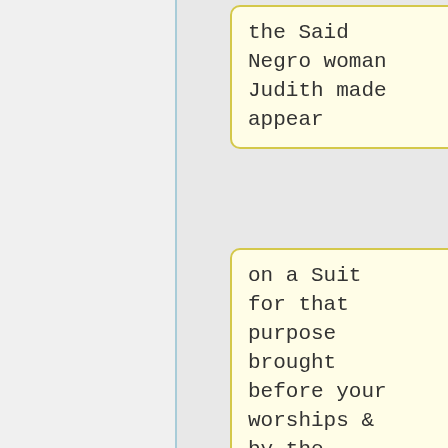the Said Negro woman Judith made appear
on a Suit for that purpose brought before your worships & by the Consideration of the Said Court was declared a free woman - And your Orator further Sheweth that your Orator